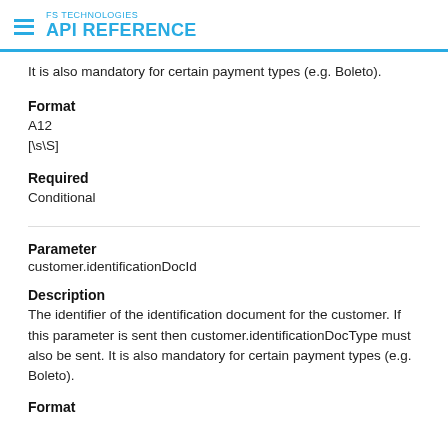FS TECHNOLOGIES API REFERENCE
It is also mandatory for certain payment types (e.g. Boleto).
Format
A12
[\s\S]
Required
Conditional
Parameter
customer.identificationDocId
Description
The identifier of the identification document for the customer. If this parameter is sent then customer.identificationDocType must also be sent. It is also mandatory for certain payment types (e.g. Boleto).
Format